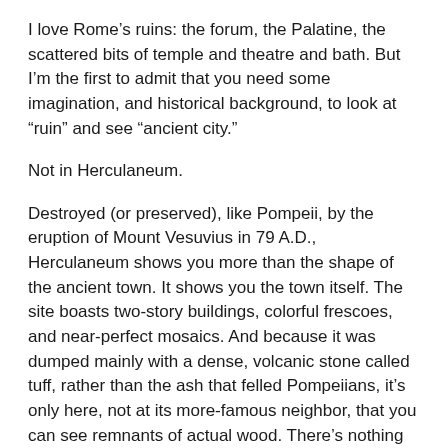I love Rome’s ruins: the forum, the Palatine, the scattered bits of temple and theatre and bath. But I’m the first to admit that you need some imagination, and historical background, to look at “ruin” and see “ancient city.”
Not in Herculaneum.
Destroyed (or preserved), like Pompeii, by the eruption of Mount Vesuvius in 79 A.D., Herculaneum shows you more than the shape of the ancient town. It shows you the town itself. The site boasts two-story buildings, colorful frescoes, and near-perfect mosaics. And because it was dumped mainly with a dense, volcanic stone called tuff, rather than the ash that felled Pompeiians, it’s only here, not at its more-famous neighbor, that you can see remnants of actual wood. There’s nothing like seeing an ancient bedframe to feel uncomfortably close to the townspeople who died here nearly two millennia ago.
Even so, Herculaneum hasn’t managed to usurp the hold that